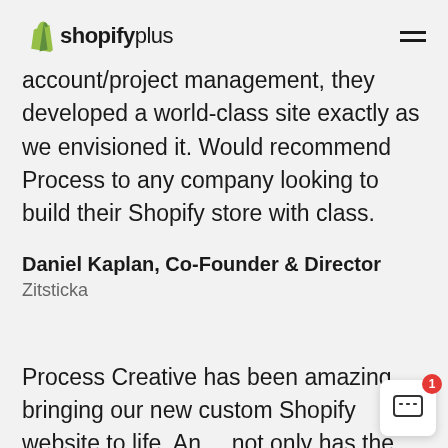shopify plus
account/project management, they developed a world-class site exactly as we envisioned it. Would recommend Process to any company looking to build their Shopify store with class.
Daniel Kaplan, Co-Founder & Director
Zitsticka
Process Creative has been amazing bringing our new custom Shopify website to life. Andy not only has the technical nous but the design skills to build beautiful ecomm sites which is